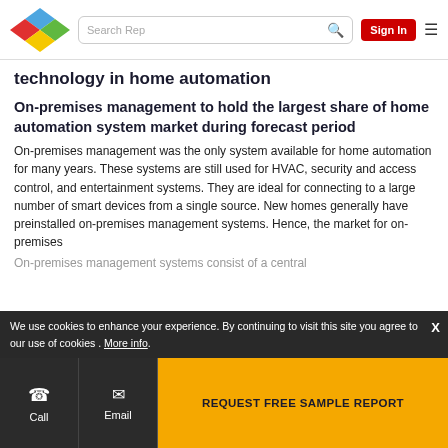Search Rep | Sign In
technology in home automation
On-premises management to hold the largest share of home automation system market during forecast period
On-premises management was the only system available for home automation for many years. These systems are still used for HVAC, security and access control, and entertainment systems. They are ideal for connecting to a large number of smart devices from a single source. New homes generally have preinstalled on-premises management systems. Hence, the market for on-premises
We use cookies to enhance your experience. By continuing to visit this site you agree to our use of cookies . More info.
On-premises management systems consist of a central
REQUEST FREE SAMPLE REPORT